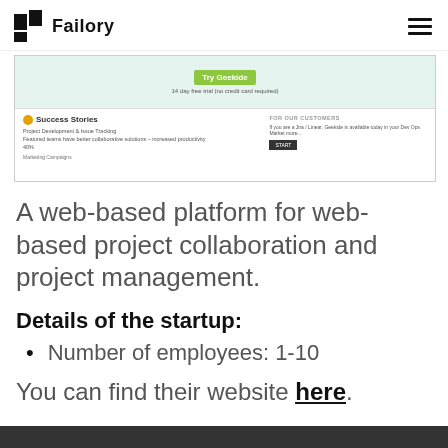Failory
[Figure (screenshot): Screenshot of a web application showing a 'Try Geekide' button on a green background, and a Success Stories section with project development and issue tracking content]
A web-based platform for web-based project collaboration and project management.
Details of the startup:
Number of employees: 1-10
You can find their website here.